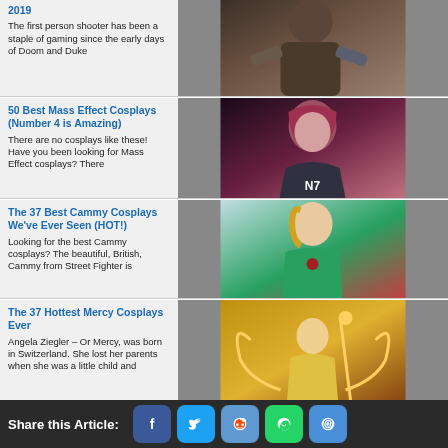2019
The first person shooter has been a staple of gaming since the early days of Doom and Duke
[Figure (photo): Photo of a man in a tank top with cyberpunk styling]
50 Best Mass Effect Cosplays (Number 4 is Amazing)
There are no cosplays like these! Have you been looking for Mass Effect cosplays? There
[Figure (photo): Photo of a woman with red/pink hair in N7 Mass Effect armor cosplay]
The 37 Best Cammy Cosplays We've Ever Seen (HOT!)
Looking for the best Cammy cosplays?  The beautiful, British, Cammy from Street Fighter is
[Figure (photo): Photo of a woman in green Cammy Street Fighter cosplay]
The 37 Hottest Mercy Cosplays Ever
Angela Ziegler – Or Mercy, was born in Switzerland. She lost her parents when she was a little child and
[Figure (photo): Illustration/photo of Mercy character from Overwatch in golden armor]
Share this Article: